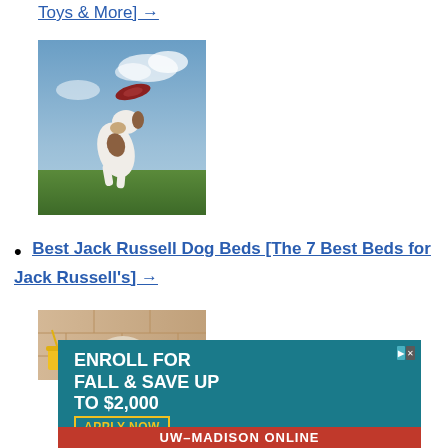Toys & More] →
[Figure (photo): A Jack Russell terrier jumping in the air to catch a frisbee on a grassy field with blue sky background]
Best Jack Russell Dog Beds [The 7 Best Beds for Jack Russell's] →
[Figure (photo): A Jack Russell terrier wearing sunglasses, lying on a bed with a tropical/vacation theme]
[Figure (infographic): Advertisement banner: ENROLL FOR FALL & SAVE UP TO $2,000 APPLY NOW — UW–MADISON ONLINE]